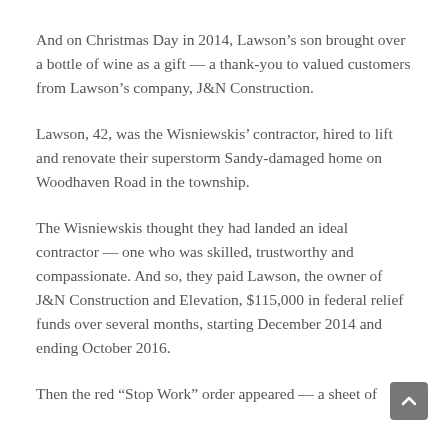And on Christmas Day in 2014, Lawson’s son brought over a bottle of wine as a gift — a thank-you to valued customers from Lawson’s company, J&N Construction.
Lawson, 42, was the Wisniewskis’ contractor, hired to lift and renovate their superstorm Sandy-damaged home on Woodhaven Road in the township.
The Wisniewskis thought they had landed an ideal contractor — one who was skilled, trustworthy and compassionate. And so, they paid Lawson, the owner of J&N Construction and Elevation, $115,000 in federal relief funds over several months, starting December 2014 and ending October 2016.
Then the red “Stop Work” order appeared — a sheet of